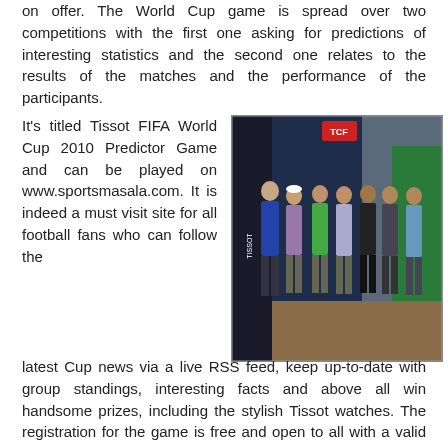on offer. The World Cup game is spread over two competitions with the first one asking for predictions of interesting statistics and the second one relates to the results of the matches and the performance of the participants.
It's titled Tissot FIFA World Cup 2010 Predictor Game and can be played on www.sportsmasala.com. It is indeed a must visit site for all football fans who can follow the latest Cup news via a live RSS feed, keep up-to-date with group standings, interesting facts and above all win handsome prizes, including the stylish Tissot watches. The registration for the game is free and open to all with a valid email account being the sole requirement.
[Figure (photo): Group photo of several men standing in a row in front of Tissot and sportsmasala branded banners/roll-ups at an indoor event.]